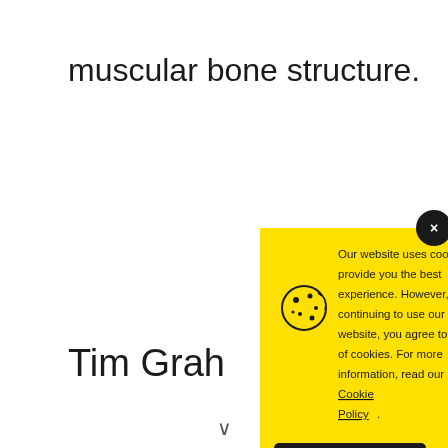muscular bone structure.
[Figure (screenshot): Yellow cookie consent banner with cookie icon, message text, Cookie Policy underlined link, and black Accept button. A close (x) button in dark circle at top-right of banner.]
Tim Grah
∨